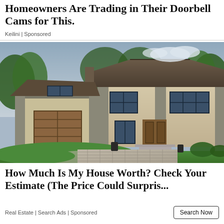Homeowners Are Trading in Their Doorbell Cams for This.
Keilini | Sponsored
[Figure (photo): Large modern two-story house with stone accents, attached garage with wood-toned door, paved circular driveway, green lawn, and trees in background.]
How Much Is My House Worth? Check Your Estimate (The Price Could Surpris...
Real Estate | Search Ads | Sponsored